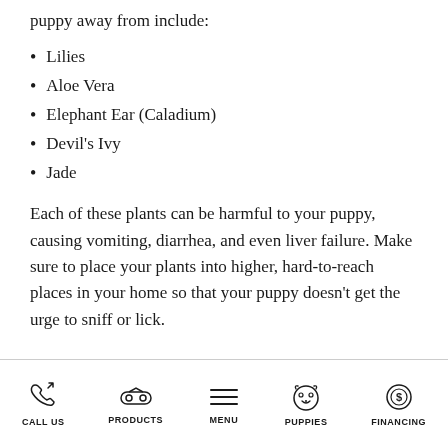puppy away from include:
Lilies
Aloe Vera
Elephant Ear (Caladium)
Devil's Ivy
Jade
Each of these plants can be harmful to your puppy, causing vomiting, diarrhea, and even liver failure. Make sure to place your plants into higher, hard-to-reach places in your home so that your puppy doesn't get the urge to sniff or lick.
CALL US  PRODUCTS  MENU  PUPPIES  FINANCING